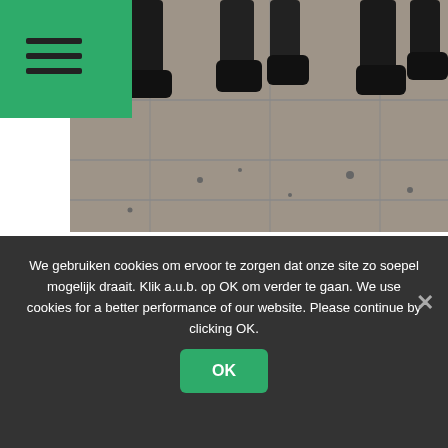Navigation menu (hamburger icon)
[Figure (photo): Photograph showing lower legs and feet of people walking/standing on stone ground, with debris scattered around. Image is partially cropped.]
Walid al-Sharif's was dragged away after he was hit in the head with a rubber-coated bullet. (Photo: Ahmad Gharabli)
[Figure (illustration): Black and white icon showing a person behind bars (prisoner silhouette icon)]
We gebruiken cookies om ervoor te zorgen dat onze site zo soepel mogelijk draait. Klik a.u.b. op OK om verder te gaan. We use cookies for a better performance of our website. Please continue by clicking OK.